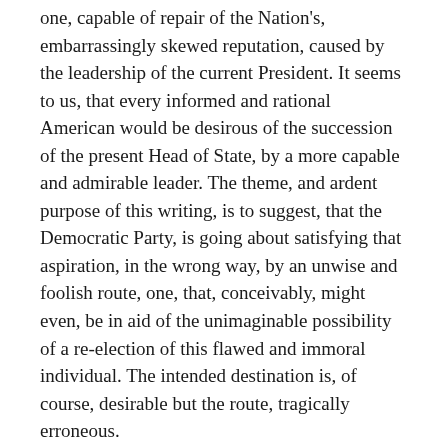one, capable of repair of the Nation's, embarrassingly skewed reputation, caused by the leadership of the current President. It seems to us, that every informed and rational American would be desirous of the succession of the present Head of State, by a more capable and admirable leader. The theme, and ardent purpose of this writing, is to suggest, that the Democratic Party, is going about satisfying that aspiration, in the wrong way, by an unwise and foolish route, one, that, conceivably, might even, be in aid of the unimaginable possibility of a re-election of this flawed and immoral individual. The intended destination is, of course, desirable but the route, tragically erroneous.
It is our observation, that many of our political pundits, have pursued the desired defeat of Trump, and the election, of a desirable Chief Executive, by